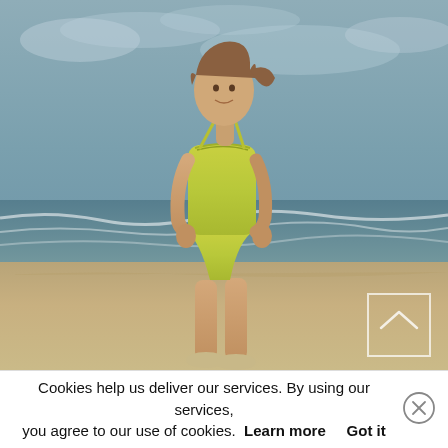[Figure (photo): A person wearing a yellow-green swimsuit standing on a beach with ocean waves and cloudy sky in the background. A scroll-up button overlay is visible in the bottom right of the photo.]
Cookies help us deliver our services. By using our services, you agree to our use of cookies. Learn more   Got it